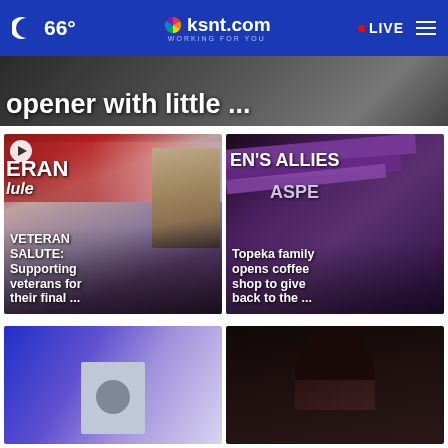66° ksnt.com WORKING FOR YOU LIVE
[Figure (screenshot): Partial news article banner with dark background showing text 'opener with little ...']
[Figure (screenshot): News card with video thumbnail showing VETERAN SALUTE segment with photo of a man with glasses. Overlay text: VETERAN SALUTE: Supporting veterans for their final ...]
[Figure (screenshot): News card showing purple ribbons/scarves with EN'S ALLIES and ASPE text visible. Overlay text: Topeka family opens coffee shop to give back to the ...]
[Figure (screenshot): Bottom left news card with blue/purple gradient background and a grey rectangular shape]
[Figure (screenshot): Bottom right news card with dark background showing top of a person's head with dark hair]